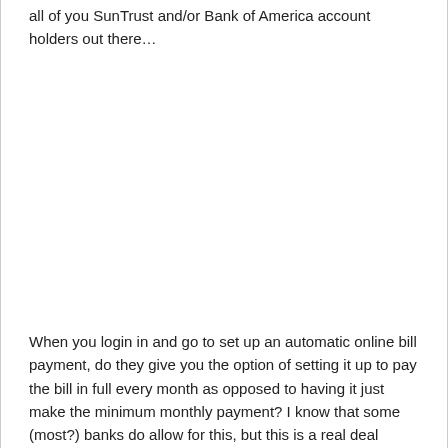all of you SunTrust and/or Bank of America account holders out there…
When you login in and go to set up an automatic online bill payment, do they give you the option of setting it up to pay the bill in full every month as opposed to having it just make the minimum monthly payment? I know that some (most?) banks do allow for this, but this is a real deal breaker